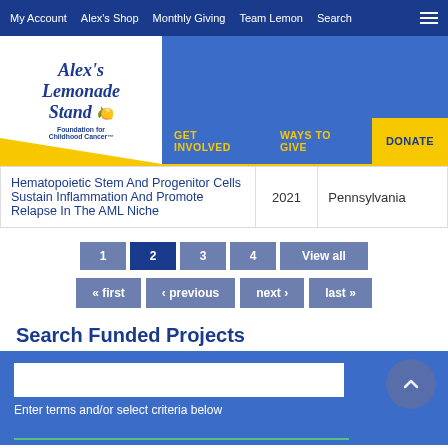My Account | Alex's Shop | Monthly Giving | Team Lemon | Search
[Figure (logo): Alex's Lemonade Stand Foundation for Childhood Cancer logo with yellow triangle accent]
GET INVOLVED  WAYS TO GIVE  DONATE
|  |  |  |
| --- | --- | --- |
| Hematopoietic Stem And Progenitor Cells Sustain Inflammation And Promote Relapse In The AML Niche | 2021 | Pennsylvania |
1  2  3  4  View all
« first  ‹ previous  next ›  last »
Search Funded Projects
Enter terms and/or select criteria below